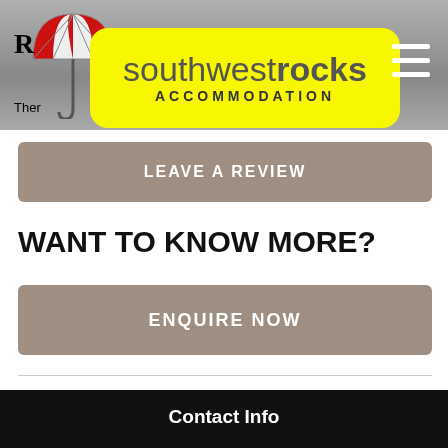[Figure (logo): Southwestrocks Accommodation logo on yellow rounded badge with red and white umbrella icon to the left. Text shows 'southwestrocks ACCOMMODATION' in grey/black.]
R
Ther
LEAVE A REVIEW
WANT TO KNOW MORE?
ENQUIRE NOW
Contact Info